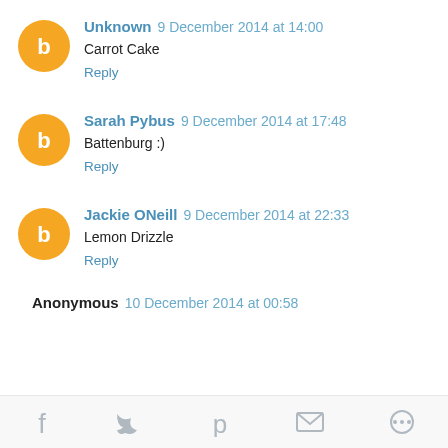Unknown 9 December 2014 at 14:00
Carrot Cake
Reply
Sarah Pybus 9 December 2014 at 17:48
Battenburg :)
Reply
Jackie ONeill 9 December 2014 at 22:33
Lemon Drizzle
Reply
Anonymous 10 December 2014 at 00:58
Social share icons: Facebook, Twitter, Pinterest, Email, Other